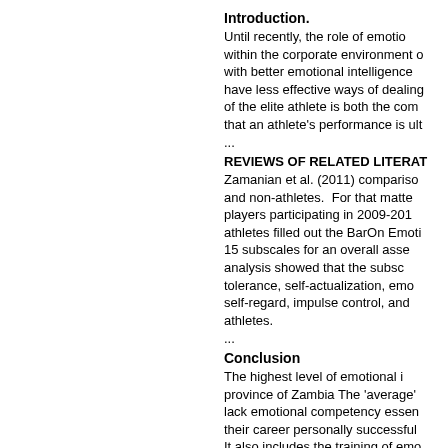Introduction.
Until recently, the role of emotions within the corporate environment of with better emotional intelligence have less effective ways of dealing of the elite athlete is both the com that an athlete's performance is ult
...
REVIEWS OF RELATED LITERAT
Zamanian et al. (2011) compariso and non-athletes. For that matte players participating in 2009-201 athletes filled out the BarOn Emoti 15 subscales for an overall asse analysis showed that the subsc tolerance, self-actualization, emo self-regard, impulse control, and athletes.
...
Conclusion
The highest level of emotional i province of Zambia The 'average' lack emotional competency essen their career personally successful It also includes the training of emo athletes that can help the athletes
Recommendations
Further research can be done in